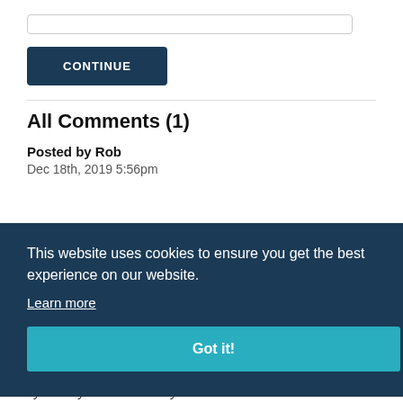[Figure (screenshot): Input text box (form field)]
[Figure (screenshot): CONTINUE button — dark navy blue, white uppercase text]
All Comments (1)
Posted by Rob
Dec 18th, 2019 5:56pm
as a
ly?
pic.
[Figure (screenshot): Cookie consent banner overlay with dark navy background. Text: 'This website uses cookies to ensure you get the best experience on our website. Learn more' and a 'Got it!' button in teal/cyan.]
This website uses cookies to ensure you get the best experience on our website.
Learn more
[Figure (screenshot): Got it! button in teal/cyan]
Is Boy Tommy a Girl? Can Boy Girl for a in...